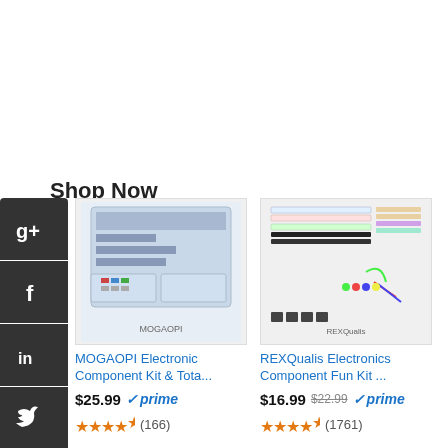Shop Now
[Figure (screenshot): Google+ social share icon (dark background, G+ text)]
[Figure (screenshot): Facebook social share icon (dark background, f text)]
[Figure (screenshot): LinkedIn social share icon (dark background, in text)]
[Figure (screenshot): Twitter social share icon (dark background, bird icon)]
[Figure (screenshot): SlideShare social share icon (dark background)]
[Figure (screenshot): StumbleUpon social share icon (dark background)]
[Figure (photo): MOGAOPI Electronic Component Kit in a clear plastic organizer case with resistors, LEDs, and other components]
MOGAOPI Electronic Component Kit & Tota...
$25.99 ✓prime ★★★★½ (166)
[Figure (photo): REXQualis Electronics Component Fun Kit showing breadboards, resistors, LEDs, jumper wires, and other components laid out]
REXQualis Electronics Component Fun Kit ...
$16.99 $22.99 ✓prime ★★★★½ (1761)